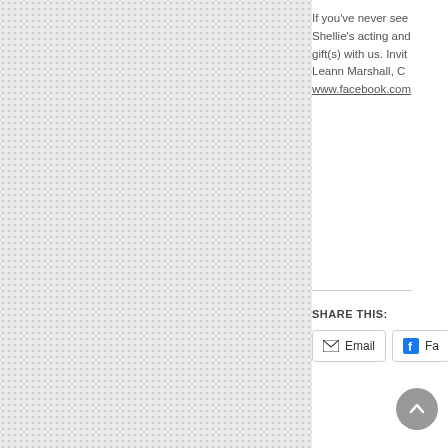[Figure (other): Light gray dotted/grid pattern background panel on the left side of the page]
If you've never see Shellie's acting and gift(s) with us. Invit Leann Marshall, C www.facebook.com
SHARE THIS:
[Figure (other): Email share button with envelope icon and 'Email' label]
[Figure (other): Facebook share button with Facebook icon and 'Fa...' label (truncated)]
[Figure (other): Scroll-to-top circular button with upward arrow at bottom right]